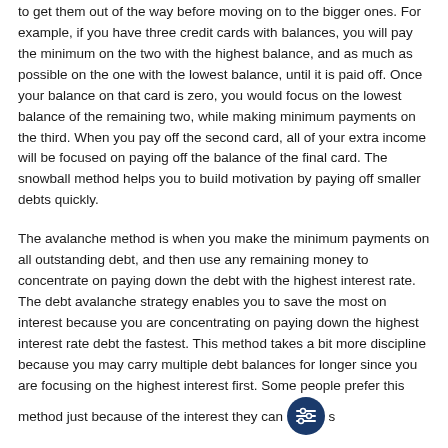to get them out of the way before moving on to the bigger ones. For example, if you have three credit cards with balances, you will pay the minimum on the two with the highest balance, and as much as possible on the one with the lowest balance, until it is paid off. Once your balance on that card is zero, you would focus on the lowest balance of the remaining two, while making minimum payments on the third. When you pay off the second card, all of your extra income will be focused on paying off the balance of the final card. The snowball method helps you to build motivation by paying off smaller debts quickly.
The avalanche method is when you make the minimum payments on all outstanding debt, and then use any remaining money to concentrate on paying down the debt with the highest interest rate. The debt avalanche strategy enables you to save the most on interest because you are concentrating on paying down the highest interest rate debt the fastest. This method takes a bit more discipline because you may carry multiple debt balances for longer since you are focusing on the highest interest first. Some people prefer this method just because of the interest they can s...
4 Consider Debt Consolidation